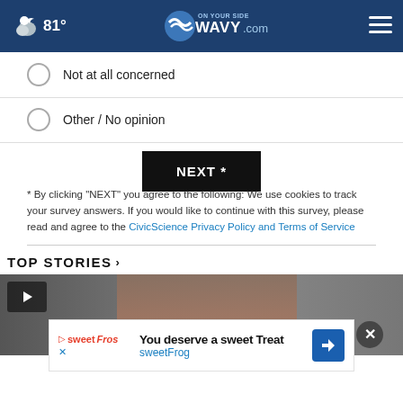☁ 81° | WAVY.com On Your Side
Not at all concerned
Other / No opinion
NEXT *
* By clicking "NEXT" you agree to the following: We use cookies to track your survey answers. If you would like to continue with this survey, please read and agree to the CivicScience Privacy Policy and Terms of Service
TOP STORIES ›
[Figure (screenshot): Video thumbnail showing a person's face with a play button in the upper left and a close (X) button in the lower right]
[Figure (screenshot): Advertisement banner: 'You deserve a sweet Treat' from sweetFrog with brand logo and navigation icon]